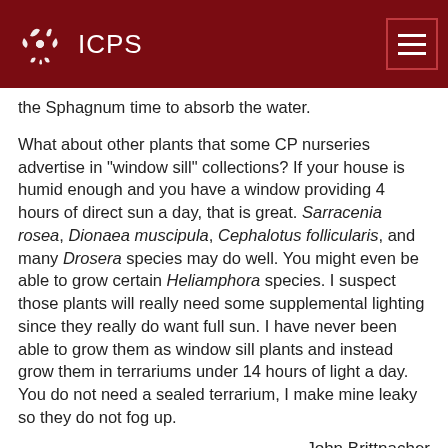ICPS
the Sphagnum time to absorb the water.
What about other plants that some CP nurseries advertise in "window sill" collections? If your house is humid enough and you have a window providing 4 hours of direct sun a day, that is great. Sarracenia rosea, Dionaea muscipula, Cephalotus follicularis, and many Drosera species may do well. You might even be able to grow certain Heliamphora species. I suspect those plants will really need some supplemental lighting since they really do want full sun. I have never been able to grow them as window sill plants and instead grow them in terrariums under 14 hours of light a day. You do not need a sealed terrarium, I make mine leaky so they do not fog up.
-- John Brittnacher
For more information please see: